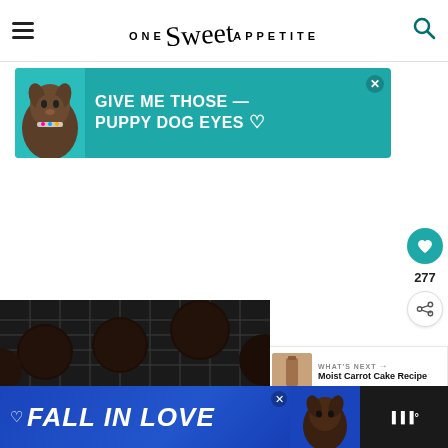ONE Sweet APPETITE
[Figure (photo): Advertisement banner: teal background with dog image and text 'GIVE ME THOSE PUPPY DOG EYES']
[Figure (infographic): Floating sidebar with heart/like button showing 277 and share button]
[Figure (photo): What's Next panel with thumbnail and text 'Moist Carrot Cake Recipe']
[Figure (photo): Dark cookies on a cooling rack]
[Figure (photo): Advertisement banner: blue gradient with text 'FALL IN LOVE' and dog image]